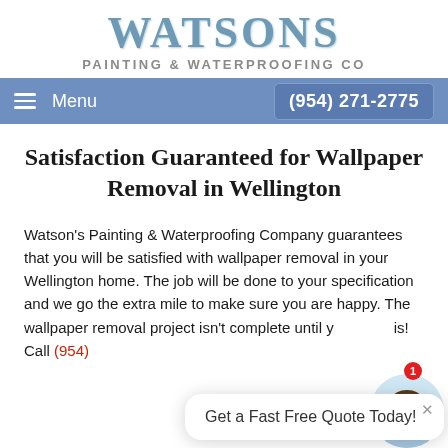[Figure (logo): Watsons Painting & Waterproofing Co logo with stylized blue serif text]
Menu  (954) 271-2775
Satisfaction Guaranteed for Wallpaper Removal in Wellington
Watson's Painting & Waterproofing Company guarantees that you will be satisfied with wallpaper removal in your Wellington home. The job will be done to your specification and we go the extra mile to make sure you are happy. The wallpaper removal project isn't complete until you say it is! Call (954)
[Figure (infographic): Chat widget popup saying 'Get a Fast Free Quote Today!' with a customer service avatar and notification badge showing 1]